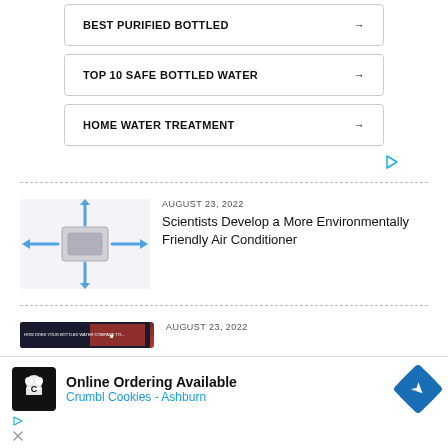BEST PURIFIED BOTTLED →
TOP 10 SAFE BOTTLED WATER →
HOME WATER TREATMENT →
[Figure (other): Small cyan triangle/play ad icon]
[Figure (illustration): Air conditioner unit with blue arrows pointing outward in four directions]
AUGUST 23, 2022
Scientists Develop a More Environmentally Friendly Air Conditioner
[Figure (screenshot): Partial dark thumbnail image for second article]
AUGUST 23, 2022
[Figure (other): Bottom advertisement: Online Ordering Available, Crumbl Cookies - Ashburn with navigation arrow icon]